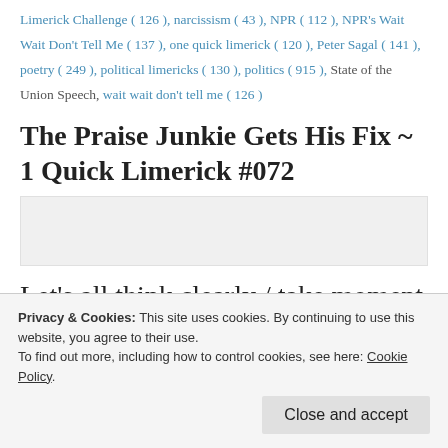Limerick Challenge ( 126 ), narcissism ( 43 ), NPR ( 112 ), NPR's Wait Wait Don't Tell Me ( 137 ), one quick limerick ( 120 ), Peter Sagal ( 141 ), poetry ( 249 ), political limericks ( 130 ), politics ( 915 ), State of the Union Speech, wait wait don't tell me ( 126 )
The Praise Junkie Gets His Fix ~ 1 Quick Limerick #072
[Figure (other): Image placeholder area below the post title]
Let's all think clearly / take moment to
Privacy & Cookies: This site uses cookies. By continuing to use this website, you agree to their use. To find out more, including how to control cookies, see here: Cookie Policy.